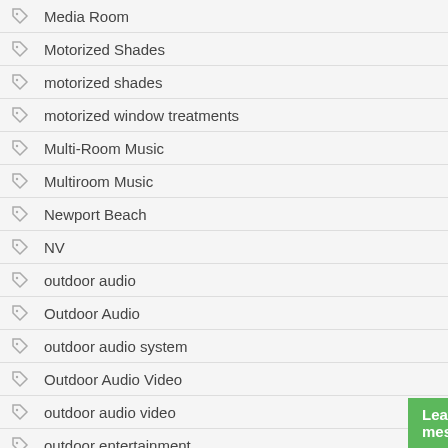Media Room
Motorized Shades
motorized shades
motorized window treatments
Multi-Room Music
Multiroom Music
Newport Beach
NV
outdoor audio
Outdoor Audio
outdoor audio system
Outdoor Audio Video
outdoor audio video
outdoor entertainment
Outdoor Entertainment